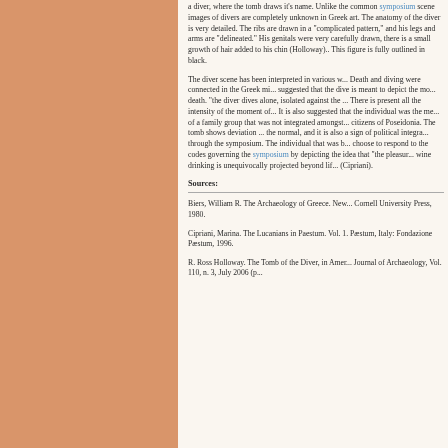a diver, where the tomb draws it's name. Unlike the common symposium scene images of divers are completely unknown in Greek art. The anatomy of the diver is very detailed. The ribs are drawn in a "complicated pattern," and his legs and arms are "delineated." His genitals were very carefully drawn, there is a small growth of hair added to his chin (Holloway).. This figure is fully outlined in black.
The diver scene has been interpreted in various ways. Death and diving were connected in the Greek mind. It suggested that the dive is meant to depict the moment of death. "the diver dives alone, isolated against the sky. There is present all the intensity of the moment of death. It is also suggested that the individual was the member of a family group that was not integrated amongst the citizens of Poseidonia. The tomb shows deviation from the normal, and it is also a sign of political integration through the symposium. The individual that was buried choose to respond to the codes governing the symposium by depicting the idea that "the pleasure of wine drinking is unequivocally projected beyond life." (Cipriani).
Sources:
Biers, William R. The Archaeology of Greece. New York: Cornell University Press, 1980.
Cipriani, Marina. The Lucanians in Paestum. Vol. 1. Pæstum, Italy: Fondazione Pæstum, 1996.
R. Ross Holloway. The Tomb of the Diver, in American Journal of Archaeology, Vol. 110, n. 3, July 2006 (p...